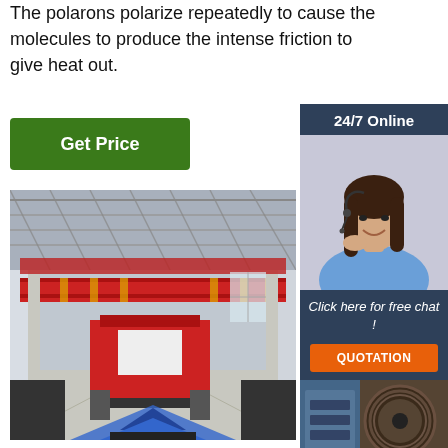The polarons polarize repeatedly to cause the molecules to produce the intense friction to give heat out.
Get Price
24/7 Online
[Figure (photo): Customer service woman with headset smiling]
Click here for free chat !
QUOTATION
[Figure (photo): Industrial factory interior with red overhead crane and conveyor belt]
[Figure (photo): Industrial equipment, cable reel]